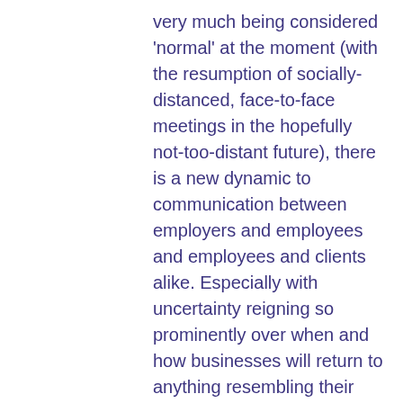very much being considered 'normal' at the moment (with the resumption of socially-distanced, face-to-face meetings in the hopefully not-too-distant future), there is a new dynamic to communication between employers and employees and employees and clients alike. Especially with uncertainty reigning so prominently over when and how businesses will return to anything resembling their pre-COVID operations. The services of solicitors and lawyers will always be needed. For many, it will be 'business as usual' (as close to 'usual' as it's possible to be).